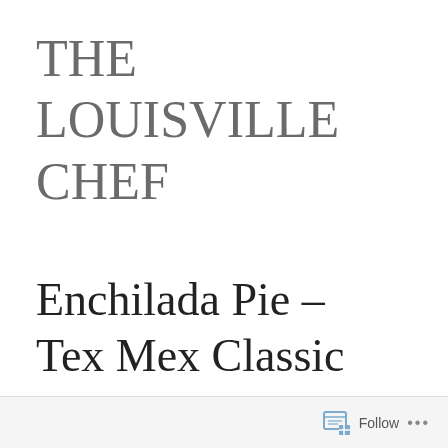THE LOUISVILLE CHEF
Enchilada Pie – Tex Mex Classic
Follow ...